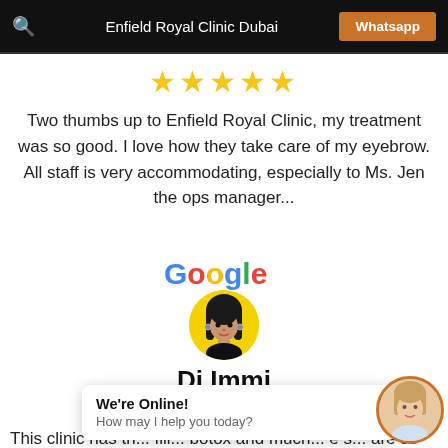Enfield Royal Clinic Dubai | Whatsapp
★★★★★
Two thumbs up to Enfield Royal Clinic, my treatment was so good. I love how they take care of my eyebrow. All staff is very accommodating, especially to Ms. Jen the ops manager...
[Figure (logo): Google logo text in multicolor]
[Figure (photo): Circular avatar photo of reviewer Di Immi with yellow background]
Di Immi
★★★★★
This clinic has th... fill... botox and much... e s... are so friendly and I always see a smile on their
We're Online!
How may I help you today?
[Figure (photo): Circular avatar photo of chat agent, woman, with orange border]